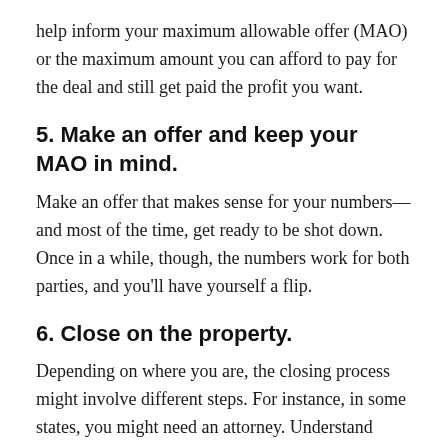help inform your maximum allowable offer (MAO) or the maximum amount you can afford to pay for the deal and still get paid the profit you want.
5. Make an offer and keep your MAO in mind.
Make an offer that makes sense for your numbers—and most of the time, get ready to be shot down. Once in a while, though, the numbers work for both parties, and you'll have yourself a flip.
6. Close on the property.
Depending on where you are, the closing process might involve different steps. For instance, in some states, you might need an attorney. Understand what